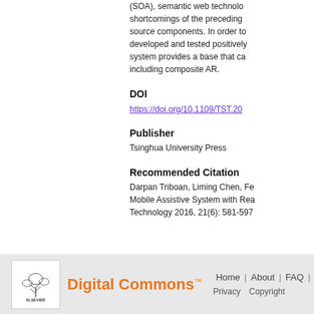(SOA), semantic web technolo… shortcomings of the preceding… source components. In order to… developed and tested positively… system provides a base that ca… including composite AR.
DOI
https://doi.org/10.1109/TST.20…
Publisher
Tsinghua University Press
Recommended Citation
Darpan Triboan, Liming Chen, Fe… Mobile Assistive System with Rea… Technology 2016, 21(6): 581-597…
Home | About | FAQ | My… Privacy Copyright